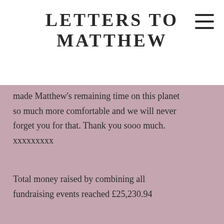LETTERS TO MATTHEW
made Matthew's remaining time on this planet so much more comfortable and we will never forget you for that. Thank you sooo much. xxxxxxxxx
Total money raised by combining all fundraising events reached £25,230.94
After Matthew passed away, the remaining fund money paid for his wake at Stoneleigh Abbey. It was an incredible celebration of Matthew's life, surrounded by